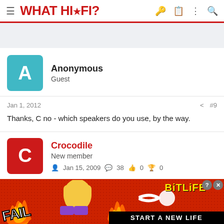WHAT HI·FI?
Anonymous
Guest
Jan 1, 2012  #9
Thanks, C no - which speakers do you use, by the way.
Crocodile
New member
Jan 15, 2009  38  0  0
[Figure (screenshot): BitLife advertisement banner: FAIL text with cartoon character, flame graphics, BitLife logo and START A NEW LIFE tagline on red background]